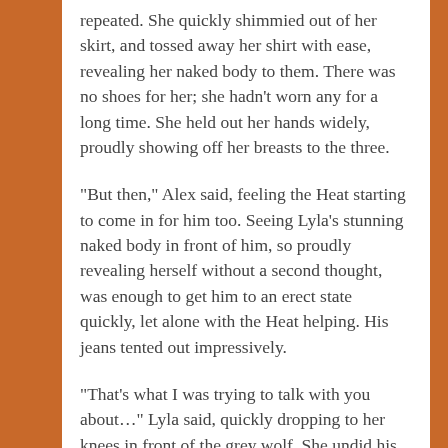repeated. She quickly shimmied out of her skirt, and tossed away her shirt with ease, revealing her naked body to them. There was no shoes for her; she hadn't worn any for a long time. She held out her hands widely, proudly showing off her breasts to the three.
“But then,” Alex said, feeling the Heat starting to come in for him too. Seeing Lyla’s stunning naked body in front of him, so proudly revealing herself without a second thought, was enough to get him to an erect state quickly, let alone with the Heat helping. His jeans tented out impressively.
“That’s what I was trying to talk with you about…” Lyla said, quickly dropping to her knees in front of the grey wolf. She undid his belt with ease, and